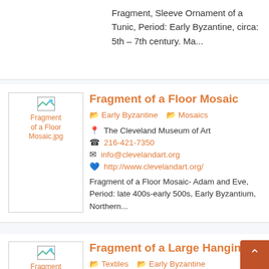Fragment, Sleeve Ornament of a Tunic, Period: Early Byzantine, circa: 5th – 7th century. Ma...
Fragment of a Floor Mosaic
Early Byzantine
Mosaics
The Cleveland Museum of Art
216-421-7350
info@clevelandart.org
http://www.clevelandart.org/
Fragment of a Floor Mosaic- Adam and Eve, Period: late 400s-early 500s, Early Byzantium, Northern...
Fragment of a Large Hanging
Textiles
Early Byzantine